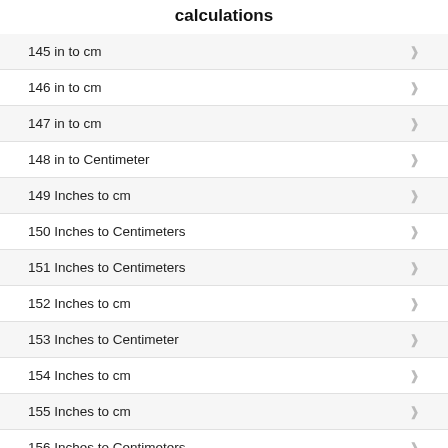calculations
145 in to cm
146 in to cm
147 in to cm
148 in to Centimeter
149 Inches to cm
150 Inches to Centimeters
151 Inches to Centimeters
152 Inches to cm
153 Inches to Centimeter
154 Inches to cm
155 Inches to cm
156 Inches to Centimeters